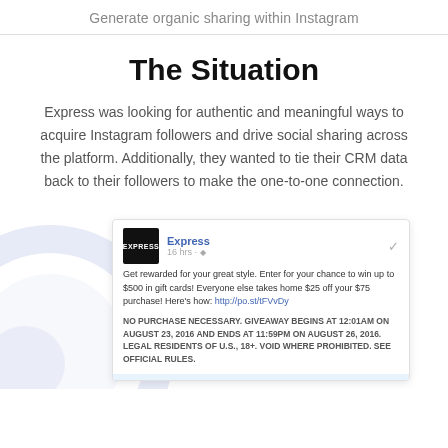Generate organic sharing within Instagram
The Situation
Express was looking for authentic and meaningful ways to acquire Instagram followers and drive social sharing across the platform. Additionally, they wanted to tie their CRM data back to their followers to make the one-to-one connection.
[Figure (screenshot): Screenshot of an Express Facebook post offering a giveaway for up to $500 in gift cards, with legal fine print about the giveaway dates and rules.]